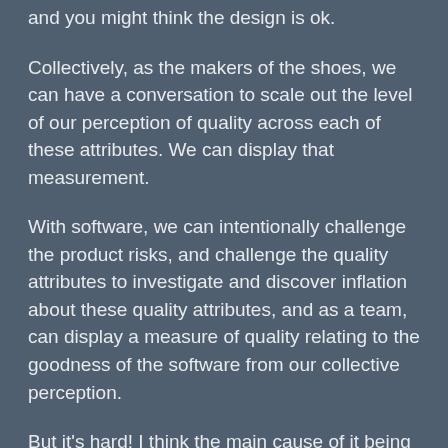and you might think the design is ok.
Collectively, as the makers of the shoes, we can have a conversation to scale out the level of our perception of quality across each of these attributes. We can display that measurement.
With software, we can intentionally challenge the product risks, and challenge the quality attributes to investigate and discover inflation about these quality attributes, and as a team, can display a measure of quality relating to the goodness of the software from our collective perception.
But it's hard! I think the main cause of it being hard is the consensus decision making part of it, due to the subjectiveness an relativeness of human opinions.